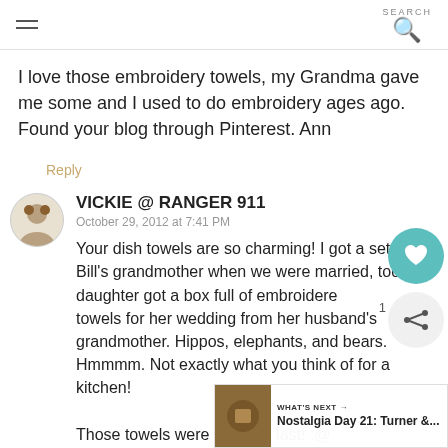SEARCH
I love those embroidery towels, my Grandma gave me some and I used to do embroidery ages ago. Found your blog through Pinterest. Ann
Reply
VICKIE @ RANGER 911
October 29, 2012 at 7:41 PM
Your dish towels are so charming! I got a set from Bill's grandmother when we were married, too. My daughter got a box full of embroidered towels for her wedding from her husband's grandmother. Hippos, elephants, and bears. Hmmmm. Not exactly what you think of for a kitchen!

Those towels were made to last! :@